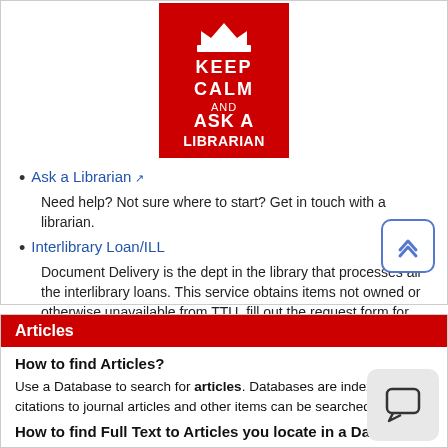[Figure (illustration): Keep Calm and Ask a Librarian poster — red background with white crown and bold white text]
Ask a Librarian
Need help? Not sure where to start? Get in touch with a librarian.
Interlibrary Loan/ILL
Document Delivery is the dept in the library that processes all the interlibrary loans. This service obtains items not owned or otherwise unavailable from TTU, fill out the request form for each item needed.
Articles
How to find Articles?
Use a Database to search for articles. Databases are indexes where citations to journal articles and other items can be searched.
How to find Full Text to Articles you locate in a Database?
Follow the Find It link in most databases to:
access full text online